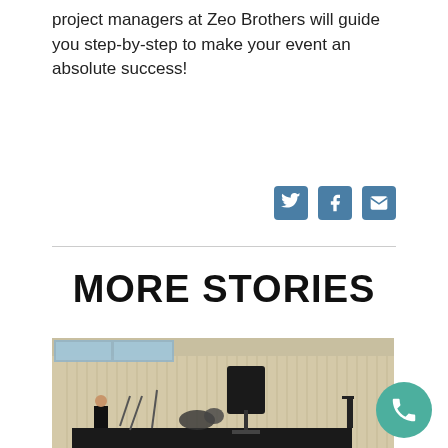project managers at Zeo Brothers will guide you step-by-step to make your event an absolute success!
[Figure (screenshot): Social media share icons: Twitter bird, Facebook f, and email envelope, in blue square buttons]
MORE STORIES
[Figure (photo): Outdoor stage setup with a large speaker on a stand, microphone stands, drum kit, and a person in a black shirt on stage. Background is a corrugated metal building wall with windows.]